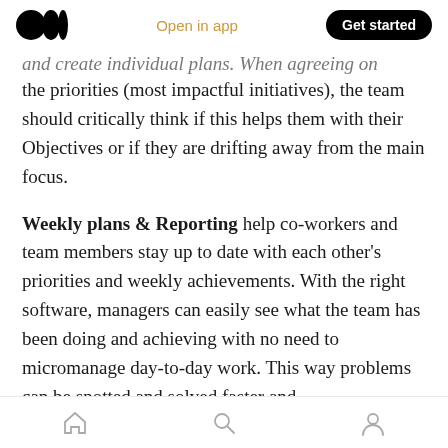Open in app  Get started
…and create individual plans. When agreeing on the priorities (most impactful initiatives), the team should critically think if this helps them with their Objectives or if they are drifting away from the main focus.
Weekly plans & Reporting help co-workers and team members stay up to date with each other's priorities and weekly achievements. With the right software, managers can easily see what the team has been doing and achieving with no need to micromanage day-to-day work. This way problems can be spotted and solved faster and
Home  Search  Profile